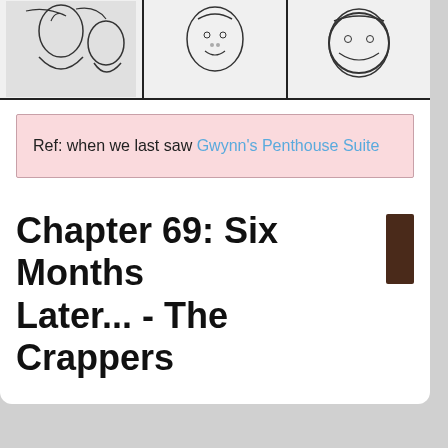[Figure (illustration): Comic strip panels showing anime-style characters, partial view at top of page. Three visible panels with hand-drawn black and white illustrations.]
Ref: when we last saw Gwynn's Penthouse Suite
Chapter 69: Six Months Later... - The Crappers